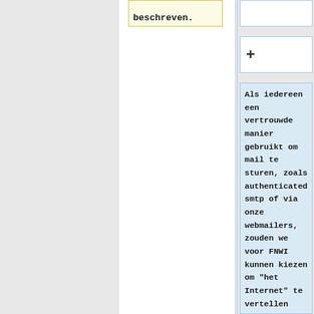beschreven.
+
Als iedereen een vertrouwde manier gebruikt om mail te sturen, zoals authenticated smtp of via onze webmailers, zouden we voor FNWI kunnen kiezen om "het Internet" te vertellen